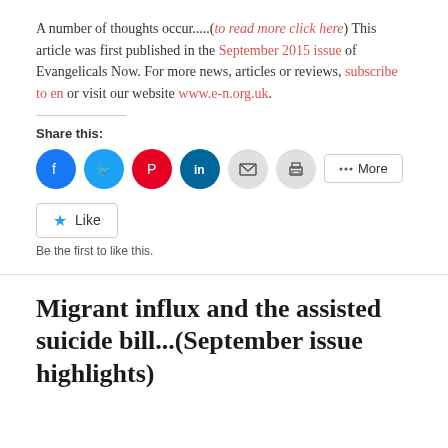A number of thoughts occur.....(to read more click here) This article was first published in the September 2015 issue of Evangelicals Now. For more news, articles or reviews, subscribe to en or visit our website www.e-n.org.uk.
Share this:
[Figure (other): Social sharing buttons: Facebook, Twitter, Pinterest, LinkedIn, Email, Print, and More]
[Figure (other): Like button with star icon and text 'Be the first to like this.']
Migrant influx and the assisted suicide bill...(September issue highlights)